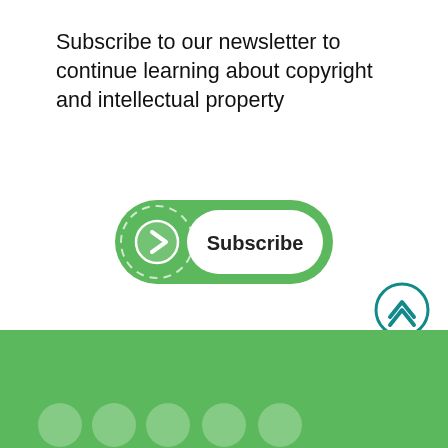Subscribe to our newsletter to continue learning about copyright and intellectual property
[Figure (illustration): Green pill-shaped subscribe button with circular arrow icon on left and white label area with bold text 'Subscribe' on right]
[Figure (illustration): Three teal circular social media icons: Facebook (f), Twitter (bird), LinkedIn (in)]
[Figure (illustration): Teal circular scroll-up button with chevron/caret pointing upward]
Green footer bar with icons